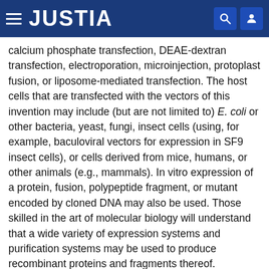JUSTIA
calcium phosphate transfection, DEAE-dextran transfection, electroporation, microinjection, protoplast fusion, or liposome-mediated transfection. The host cells that are transfected with the vectors of this invention may include (but are not limited to) E. coli or other bacteria, yeast, fungi, insect cells (using, for example, baculoviral vectors for expression in SF9 insect cells), or cells derived from mice, humans, or other animals (e.g., mammals). In vitro expression of a protein, fusion, polypeptide fragment, or mutant encoded by cloned DNA may also be used. Those skilled in the art of molecular biology will understand that a wide variety of expression systems and purification systems may be used to produce recombinant proteins and fragments thereof.
Packaging Systems